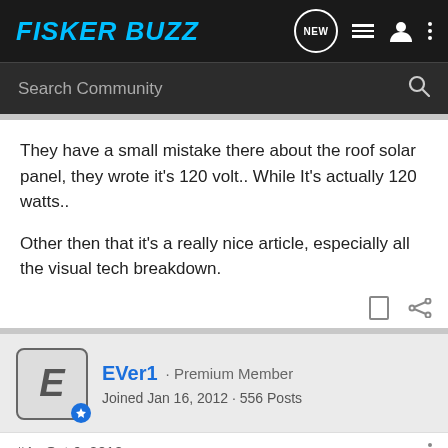FISKER BUZZ
Search Community
They have a small mistake there about the roof solar panel, they wrote it's 120 volt.. While It's actually 120 watts..
Other then that it's a really nice article, especially all the visual tech breakdown.
EVer1 · Premium Member
Joined Jan 16, 2012 · 556 Posts
#4 · Oct 6, 2012